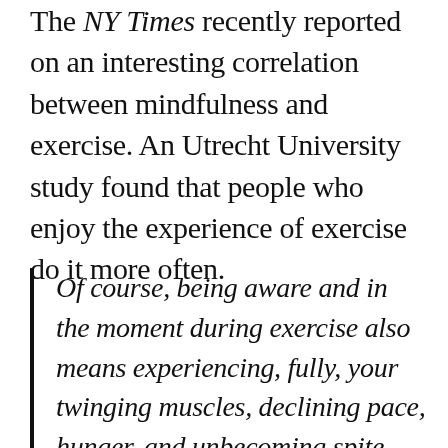The NY Times recently reported on an interesting correlation between mindfulness and exercise. An Utrecht University study found that people who enjoy the experience of exercise do it more often.
Of course, being aware and in the moment during exercise also means experiencing, fully, your twinging muscles, declining pace, hunger, and unbecoming spite when a grandmother passes you on the trail. But even these